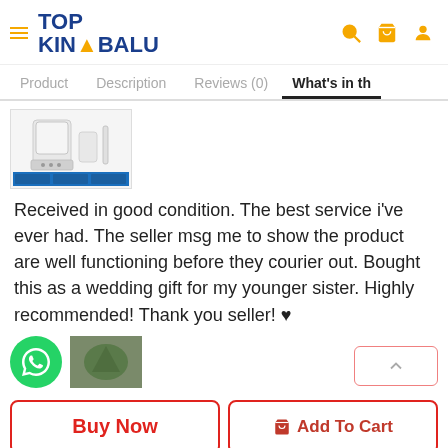TOP KINABALU - Navigation header with logo and icons
Product | Description | Reviews (0) | What's in th
[Figure (photo): Product image of a blender/mixer with blue packaging]
Received in good condition. The best service i've ever had. The seller msg me to show the product are well functioning before they courier out. Bought this as a wedding gift for my younger sister. Highly recommended! Thank you seller! ♥
[Figure (photo): WhatsApp contact button (green circle with phone icon) and a secondary product thumbnail image]
Buy Now
Add To Cart